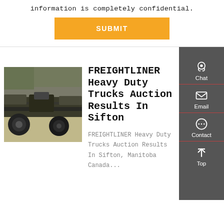information is completely confidential.
SUBMIT
[Figure (photo): Underside/chassis view of a heavy duty Freightliner truck, showing wheels, suspension, and frame components. Photo taken from below/side angle.]
FREIGHTLINER Heavy Duty Trucks Auction Results In Sifton
FREIGHTLINER Heavy Duty Trucks Auction Results In Sifton, Manitoba Canada...